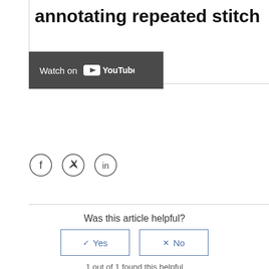annotating repeated stitch
[Figure (screenshot): Watch on YouTube button with dark grey background]
[Figure (infographic): Social media icons: Facebook (f), Twitter (bird), LinkedIn (in) in circles]
Was this article helpful?
✓ Yes   ✗ No (two buttons)
1 out of 1 found this helpful
Have more questions? Submit a request